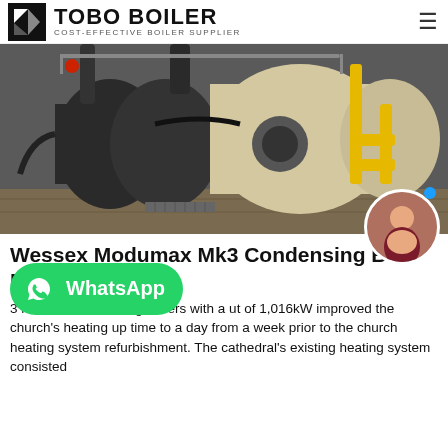TOBO BOILER — COST-EFFECTIVE BOILER SUPPLIER
[Figure (photo): Industrial boiler room showing large modular condensing boilers with black and beige cylindrical vessels, yellow gas pipework, and associated equipment on a concrete floor.]
Wessex Modumax Mk3 Condensing B... Bimstore
3 modular condensing boilers with a ut of 1,016kW improved the church's heating up time to a day from a week prior to the church heating system refurbishment. The cathedral's existing heating system consisted